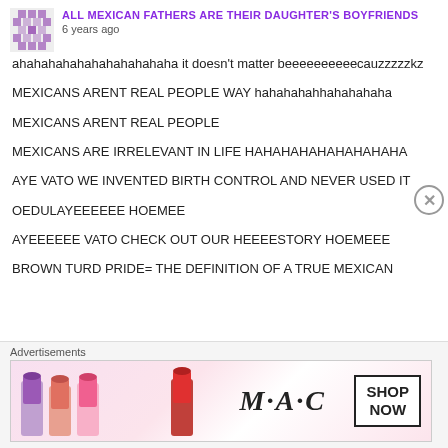ALL MEXICAN FATHERS ARE THEIR DAUGHTER'S BOYFRIENDS
6 years ago
ahahahahahahahahahahaha it doesn't matter beeeeeeeeeecauzzzzzkz
MEXICANS ARENT REAL PEOPLE WAY hahahahahhahahahaha
MEXICANS ARENT REAL PEOPLE
MEXICANS ARE IRRELEVANT IN LIFE HAHAHAHAHAHAHAHAHA
AYE VATO WE INVENTED BIRTH CONTROL AND NEVER USED IT
OEDULAYEEEEEE HOEMEE
AYEEEEEE VATO CHECK OUT OUR HEEEESTORY HOEMEEE
BROWN TURD PRIDE= THE DEFINITION OF A TRUE MEXICAN
Advertisements
[Figure (photo): MAC cosmetics advertisement banner showing lipsticks and SHOP NOW button]